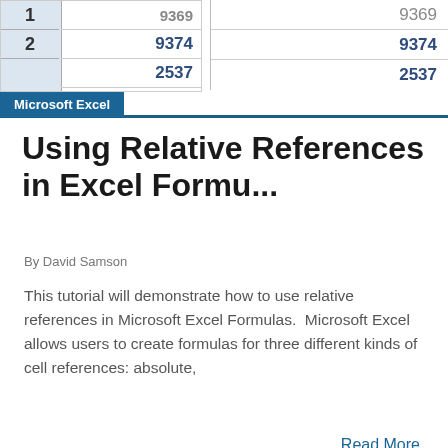[Figure (screenshot): Partial screenshot of Microsoft Excel spreadsheet showing row numbers 1 and 2 in column header area, and numeric values 9369 (partially visible), 9374, and 2537 in a data column]
Microsoft Excel
Using Relative References in Excel Formu...
By David Samson
This tutorial will demonstrate how to use relative references in Microsoft Excel Formulas.  Microsoft Excel allows users to create formulas for three different kinds of cell references: absolute,
Read More